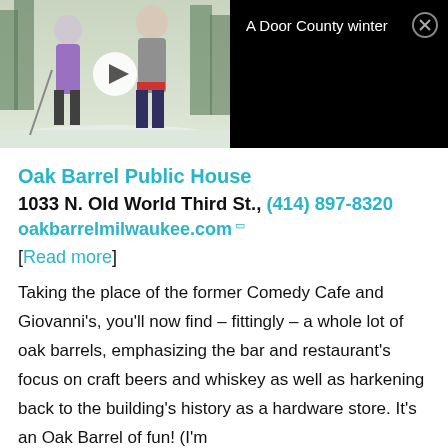[Figure (photo): Video thumbnail showing two people cross-country skiing in a snowy wooded scene. A play button is overlaid on the thumbnail. To the right on a black background is text reading 'A Door County winter' with a close (X) button.]
Oak Barrel Public House
1033 N. Old World Third St., (414) 897-8320
oakbarrelmilwaukee.com
[Read more]
Taking the place of the former Comedy Cafe and Giovanni's, you'll now find – fittingly – a whole lot of oak barrels, emphasizing the bar and restaurant's focus on craft beers and whiskey as well as harkening back to the building's history as a hardware store. It's an Oak Barrel of fun! (I'm